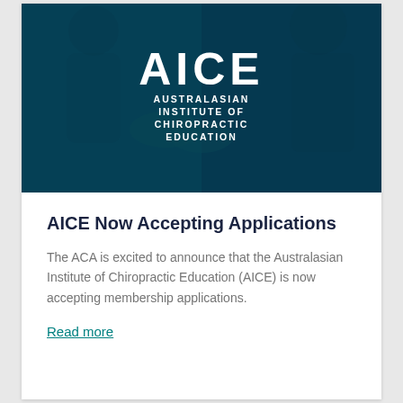[Figure (photo): Banner image with dark teal overlay showing people shaking hands and a woman in a blazer, with the AICE (Australasian Institute of Chiropractic Education) logo in white text centered on the image.]
AICE Now Accepting Applications
The ACA is excited to announce that the Australasian Institute of Chiropractic Education (AICE) is now accepting membership applications.
Read more